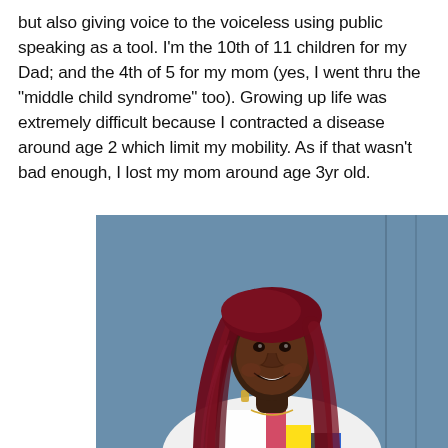but also giving voice to the voiceless using public speaking as a tool. I'm the 10th of 11 children for my Dad; and the 4th of 5 for my mom (yes, I went thru the "middle child syndrome" too). Growing up life was extremely difficult because I contracted a disease around age 2 which limit my mobility. As if that wasn't bad enough, I lost my mom around age 3yr old.
[Figure (photo): Portrait photo of a smiling young Black woman with long dark red braids, wearing a colorful striped shirt, against a blue-grey background. On the left side are two UI icons: a contrast/accessibility icon and a text-size (tT) icon on a white panel.]